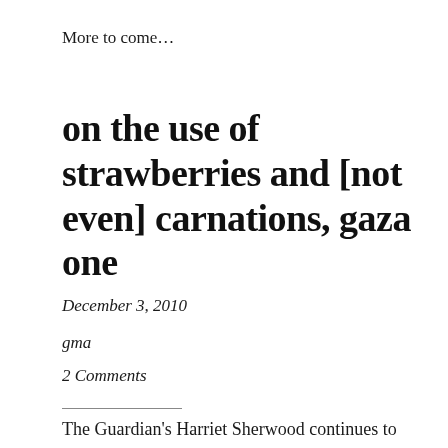More to come…
on the use of strawberries and [not even] carnations, gaza one
December 3, 2010
gma
2 Comments
The Guardian's Harriet Sherwood continues to report with clear-eyed vigour from Palestine. Her latest piece on Dashed Hopes, the